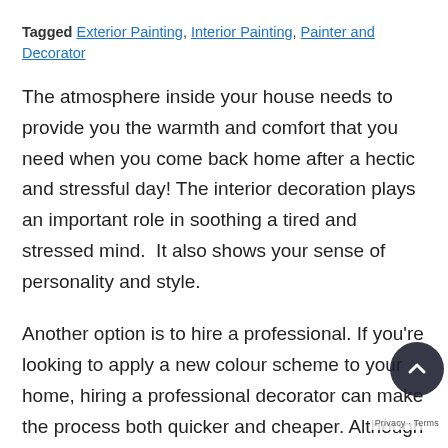Tagged Exterior Painting, Interior Painting, Painter and Decorator
The atmosphere inside your house needs to provide you the warmth and comfort that you need when you come back home after a hectic and stressful day! The interior decoration plays an important role in soothing a tired and stressed mind.  It also shows your sense of personality and style.
Another option is to hire a professional. If you're looking to apply a new colour scheme to your home, hiring a professional decorator can make the process both quicker and cheaper. Although we like to see ourselves as great DIYers, often we don't achieve the finish we hoped for yourself a favour and hire a team of painting and decorating contractors so that you can rest assured that your home is in safe hands.